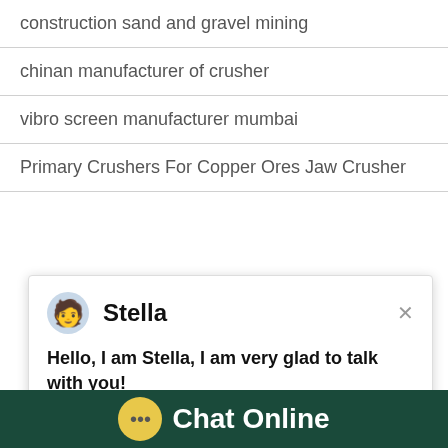construction sand and gravel mining
chinan manufacturer of crusher
vibro screen manufacturer mumbai
Primary Crushers For Copper Ores Jaw Crusher
[Figure (screenshot): Chat popup with avatar of Stella, showing message: Hello, I am Stella, I am very glad to talk with you!]
PRODUCTS
concrete price per cubic meter
stone gold ore crusher and grinder
HST Hyd...
HJ Jaw Cr...
[Figure (screenshot): Blue chat panel with notification badge showing 1, Click me to chat button, and Enquiry label]
[Figure (screenshot): Bottom bar with chat bubble icon and Chat Online text on dark green background]